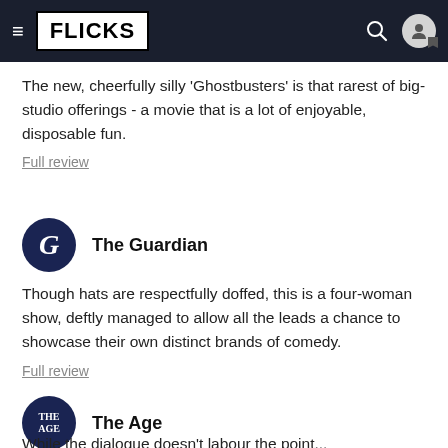FLICKS
The new, cheerfully silly 'Ghostbusters' is that rarest of big-studio offerings - a movie that is a lot of enjoyable, disposable fun.
Full review
[Figure (logo): The Guardian circular dark navy logo with white italic G]
The Guardian
Though hats are respectfully doffed, this is a four-woman show, deftly managed to allow all the leads a chance to showcase their own distinct brands of comedy.
Full review
[Figure (logo): The Age circular dark navy logo with white text THE AGE]
The Age
While the dialogue doesn't labour the point...